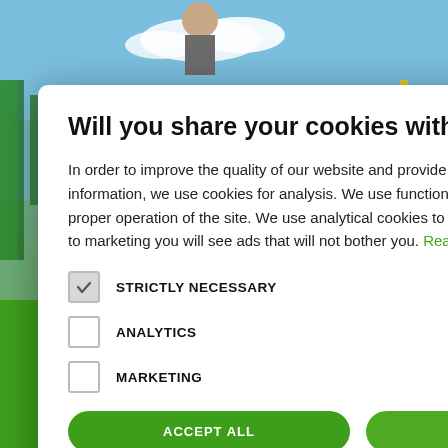[Figure (photo): Industrial facility background with workers in green uniforms and hard hats on metal stairs/platform with pipes and industrial equipment. Green banner at bottom.]
Will you share your cookies with us?
In order to improve the quality of our website and provide you with relevant information, we use cookies for analysis. We use functional cookies to ensure the proper operation of the site. We use analytical cookies to analyze traffic and thanks to marketing you will see ads that will not bother you. Read more
STRICTLY NECESSARY (checked)
ANALYTICS (unchecked)
MARKETING (unchecked)
ACCEPT ALL   DECLINE ALL
AT
R FOR
THE COMPANY